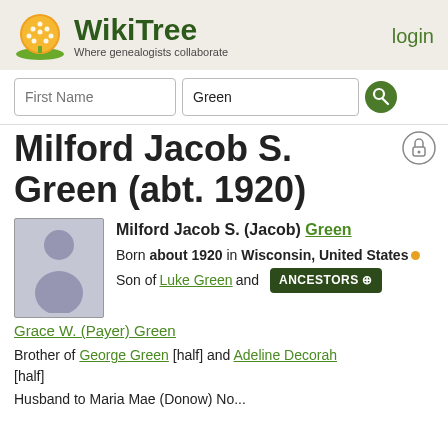[Figure (logo): WikiTree logo — orange/yellow tree icon with text 'WikiTree' in dark green and tagline 'Where genealogists collaborate']
login
First Name | Green [search]
Milford Jacob S. Green (abt. 1920)
Milford Jacob S. (Jacob) Green
Born about 1920 in Wisconsin, United States
Son of Luke Green and Grace W. (Payer) Green
ANCESTORS
Brother of George Green [half] and Adeline Decorah [half]
Husband to Maria Mae (Donow) No...